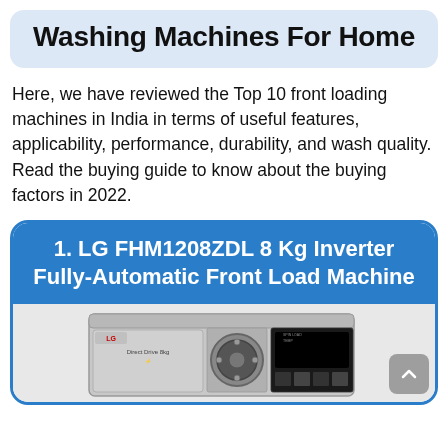Washing Machines For Home
Here, we have reviewed the Top 10 front loading machines in India in terms of useful features, applicability, performance, durability, and wash quality. Read the buying guide to know about the buying factors in 2022.
1. LG FHM1208ZDL 8 Kg Inverter Fully-Automatic Front Load Machine
[Figure (photo): LG FHM1208ZDL front-load washing machine, silver/chrome finish, showing control panel with dial and display, Direct Drive 8kg label visible, front-loading door]